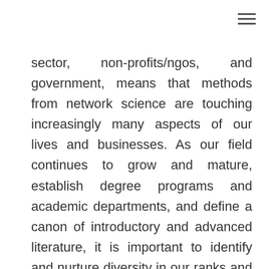[Figure (other): Hamburger menu icon (three horizontal lines) in top right corner]
sector, non-profits/ngos, and government, means that methods from network science are touching increasingly many aspects of our lives and businesses. As our field continues to grow and mature, establish degree programs and academic departments, and define a canon of introductory and advanced literature, it is important to identify and nurture diversity in our ranks and in our publications. Building on successful (informal) meetings of the Women in Network Science in 2018 at